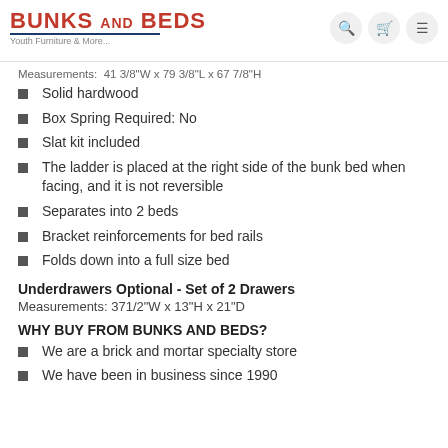BUNKS AND BEDS – Youth Furniture & More...
Measurements:  41 3/8"W x 79 3/8"L x 67 7/8"H
Solid hardwood
Box Spring Required: No
Slat kit included
The ladder is placed at the right side of the bunk bed when facing, and it is not reversible
Separates into 2 beds
Bracket reinforcements for bed rails
Folds down into a full size bed
Underdrawers Optional - Set of 2 Drawers
Measurements: 371/2"W x 13"H x 21"D
WHY BUY FROM BUNKS AND BEDS?
We are a brick and mortar specialty store
We have been in business since 1990